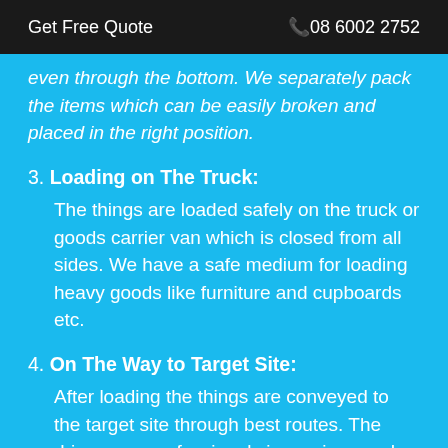Get Free Quote  📞08 6002 2752
even through the bottom. We separately pack the items which can be easily broken and placed in the right position.
3. Loading on The Truck: The things are loaded safely on the truck or goods carrier van which is closed from all sides. We have a safe medium for loading heavy goods like furniture and cupboards etc.
4. On The Way to Target Site: After loading the things are conveyed to the target site through best routes. The drivers are professionals in moving goods.
5. Reaching The Place: The delivery will reach at your place as per given